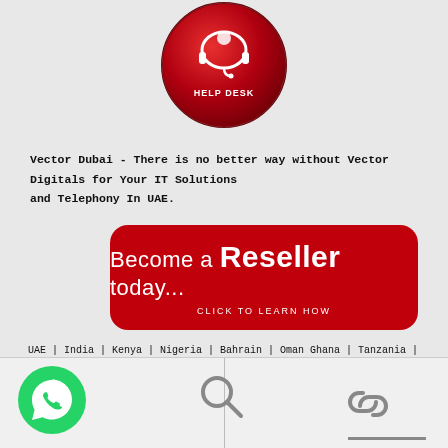[Figure (logo): Red circular Help Desk button with headset icon and HELP DESK text]
Vector Dubai - There is no better way without Vector Digitals for Your IT Solutions and Telephony In UAE.
[Figure (illustration): Red rounded rectangle banner reading 'Become a Reseller today... CLICK TO LEARN HOW']
UAE | India | Kenya | Nigeria | Bahrain | Oman Ghana | Tanzania | Rwanda | Uganda | Chad | Comoros | Congo | Djibouti | Guinea | Ethiopia | Eritrea | Gabon | Guinea | Gambia | Ivory Coast | Mauritius|| Malawi | Mozambique | Senegal| Somalia | Seychelles | South Sudan | Tunisia | Sudan | Zambia | Togo |
[Figure (logo): Green WhatsApp circular button at bottom left]
[Figure (other): Search magnifying glass icon at bottom center-left]
[Figure (other): Link/chain icon at bottom right with underline]